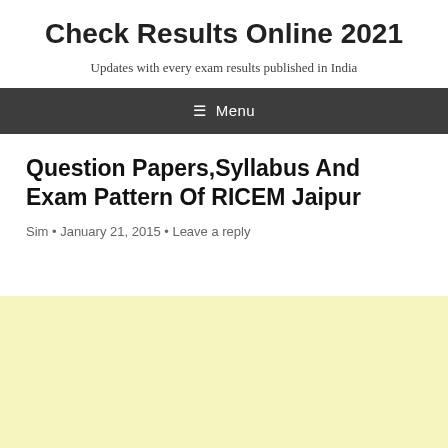Check Results Online 2021
Updates with every exam results published in India
≡  Menu
Question Papers,Syllabus And Exam Pattern Of RICEM Jaipur
Sim • January 21, 2015 • Leave a reply
[Figure (other): Light yellow advertisement or content block area]